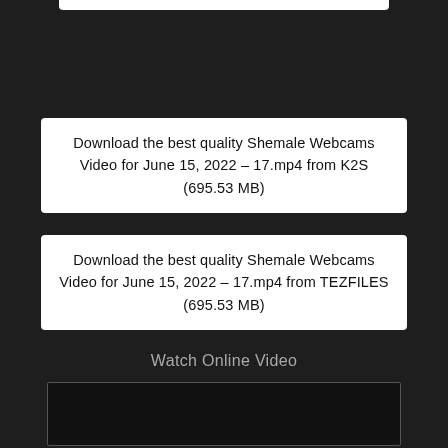Download the best quality Shemale Webcams Video for June 15, 2022 – 17.mp4 from K2S (695.53 MB)
Download the best quality Shemale Webcams Video for June 15, 2022 – 17.mp4 from TEZFILES (695.53 MB)
Watch Online Video
[Figure (other): Dark video player embed area]